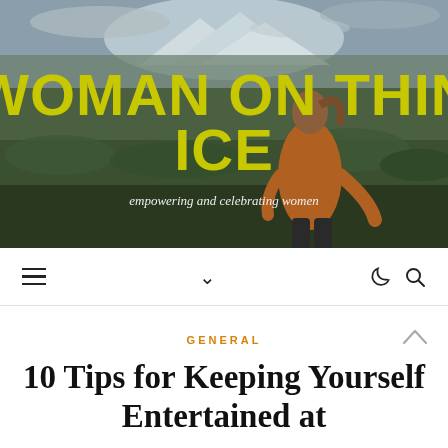[Figure (photo): Hero banner showing a woman with red hair walking through a wild moorland landscape with mountains in the background. She is wearing an orange/rust knit cardigan. The image has large yellow-green text overlay reading 'WOMAN ON THIN ICE' and italic subtitle 'empowering and celebrating women'.]
WOMAN ON THIN ICE
empowering and celebrating women
Navigation bar with hamburger menu icon, chevron/dropdown icon, moon/dark mode icon, and search icon
GENERAL
10 Tips for Keeping Yourself Entertained at